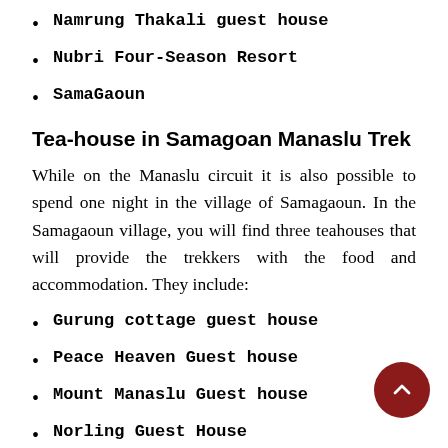Namrung Thakali guest house
Nubri Four-Season Resort
SamaGaoun
Tea-house in Samagoan Manaslu Trek
While on the Manaslu circuit it is also possible to spend one night in the village of Samagaoun. In the Samagaoun village, you will find three teahouses that will provide the trekkers with the food and accommodation. They include:
Gurung cottage guest house
Peace Heaven Guest house
Mount Manaslu Guest house
Norling Guest House